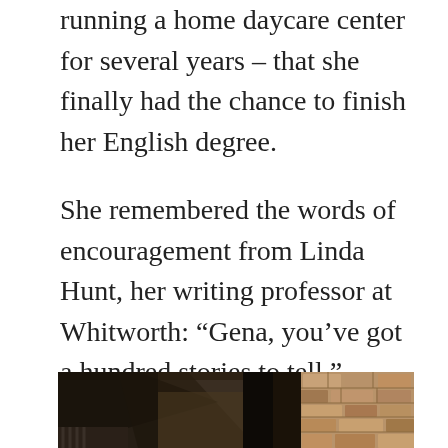running a home daycare center for several years – that she finally had the chance to finish her English degree.
She remembered the words of encouragement from Linda Hunt, her writing professor at Whitworth: “Gena, you’ve got a hundred stories to tell.”
[Figure (photo): Interior photo of a rustic structure showing wooden roof beams/rafters from below, a dark vertical post or door frame in the center, and a rough stone wall on the right side. The lighting is dim with natural light coming through the structure.]